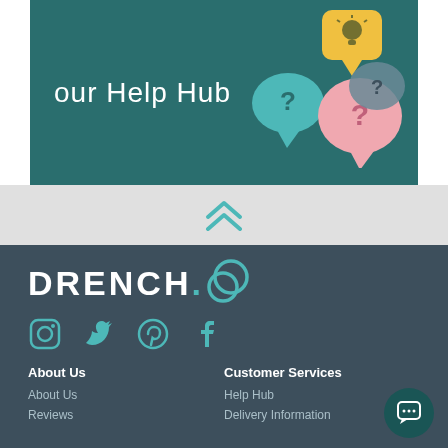[Figure (illustration): Teal/dark green banner with text 'our Help Hub' and speech bubble graphics with question marks]
[Figure (illustration): Light gray divider bar with teal double chevron up arrows]
[Figure (logo): Drench logo in white bold uppercase text with teal ring/circle icon]
[Figure (illustration): Social media icons: Instagram, Twitter, Pinterest, Facebook in teal]
About Us
Customer Services
About Us
Help Hub
Reviews
Delivery Information